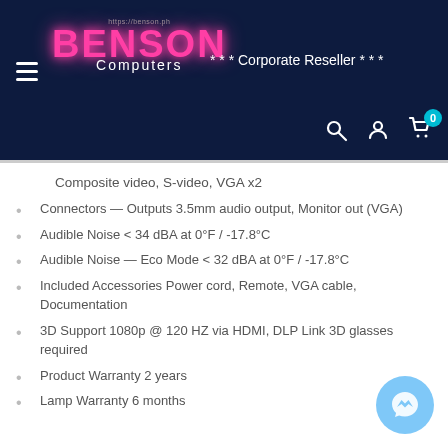https://benson.ph BENSON Computers *** Corporate Reseller ***
Composite video, S-video, VGA x2
Connectors — Outputs 3.5mm audio output, Monitor out (VGA)
Audible Noise < 34 dBA at 0°F / -17.8°C
Audible Noise — Eco Mode < 32 dBA at 0°F / -17.8°C
Included Accessories Power cord, Remote, VGA cable, Documentation
3D Support 1080p @ 120 HZ via HDMI, DLP Link 3D glasses required
Product Warranty 2 years
Lamp Warranty 6 months